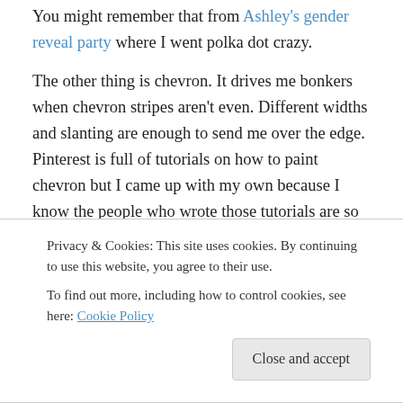You might remember that from Ashley's gender reveal party where I went polka dot crazy.
The other thing is chevron. It drives me bonkers when chevron stripes aren't even. Different widths and slanting are enough to send me over the edge. Pinterest is full of tutorials on how to paint chevron but I came up with my own because I know the people who wrote those tutorials are so much better at this than I am. I didn't trust myself to cut tape at the right angles or anything so it took me a month to figure out how I was going to do this. Then we
didn't know what it looked like :)
Privacy & Cookies: This site uses cookies. By continuing to use this website, you agree to their use.
To find out more, including how to control cookies, see here: Cookie Policy